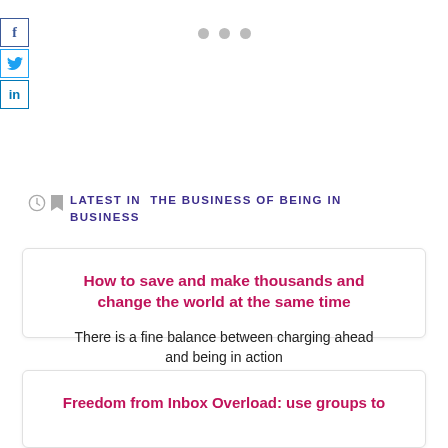[Figure (other): Social media share icons: Facebook (f), Twitter (bird), LinkedIn (in) stacked vertically on the left edge]
[Figure (other): Three grey dots navigation indicator centered at top]
LATEST IN THE BUSINESS OF BEING IN BUSINESS
How to save and make thousands and change the world at the same time
There is a fine balance between charging ahead and being in action
Freedom from Inbox Overload: use groups to